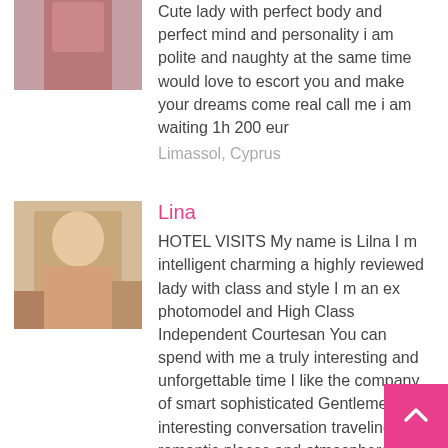[Figure (photo): Partial photo of a woman in red outfit, cropped at top]
Cute lady with perfect body and perfect mind and personality i am polite and naughty at the same time would love to escort you and make your dreams come real call me i am waiting 1h 200 eur
Limassol, Cyprus
Lina
[Figure (photo): Photo of a blonde woman in a room, standing near a lamp]
HOTEL VISITS My name is Lilna I m intelligent charming a highly reviewed lady with class and style I m an ex photomodel and High Class Independent Courtesan You can spend with me a truly interesting and unforgettable time I like the company of smart sophisticated Gentlemen interesting conversation traveling romantic places and atmosphere everything what is beautiful and luxury My big asset is 100 NATURAL beautiful body very soft skin and perfect